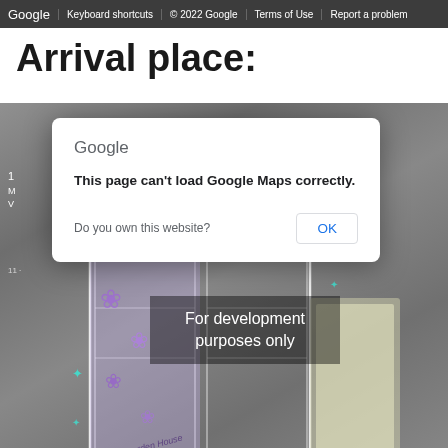Google | Keyboard shortcuts | © 2022 Google | Terms of Use | Report a problem
Arrival place:
[Figure (screenshot): Google Maps screenshot showing an error dialog overlay on top of a decorative gate illustration with purple floral motifs. The dialog reads 'Google / This page can't load Google Maps correctly. / Do you own this website? [OK]'. Below the dialog is a watermark reading 'For development purposes only'.]